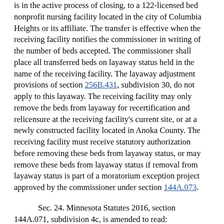is in the active process of closing, to a 122-licensed bed nonprofit nursing facility located in the city of Columbia Heights or its affiliate. The transfer is effective when the receiving facility notifies the commissioner in writing of the number of beds accepted. The commissioner shall place all transferred beds on layaway status held in the name of the receiving facility. The layaway adjustment provisions of section 256B.431, subdivision 30, do not apply to this layaway. The receiving facility may only remove the beds from layaway for recertification and relicensure at the receiving facility's current site, or at a newly constructed facility located in Anoka County. The receiving facility must receive statutory authorization before removing these beds from layaway status, or may remove these beds from layaway status if removal from layaway status is part of a moratorium exception project approved by the commissioner under section 144A.073.
Sec. 24. Minnesota Statutes 2016, section 144A.071, subdivision 4c, is amended to read:
Subd. 4c. Exceptions for replacement beds after June 30, 2003. (a) The commissioner of health, in